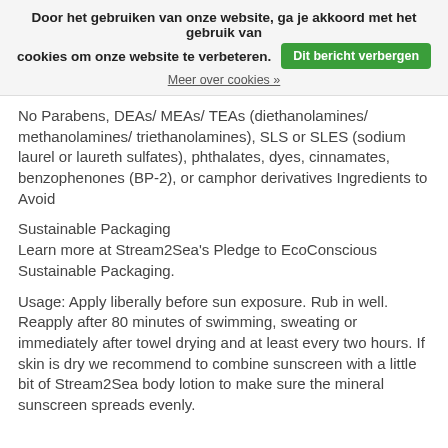Door het gebruiken van onze website, ga je akkoord met het gebruik van cookies om onze website te verbeteren. Dit bericht verbergen Meer over cookies »
No Parabens, DEAs/ MEAs/ TEAs (diethanolamines/ methanolamines/ triethanolamines), SLS or SLES (sodium laurel or laureth sulfates), phthalates, dyes, cinnamates, benzophenones (BP-2), or camphor derivatives Ingredients to Avoid
Sustainable Packaging
Learn more at Stream2Sea's Pledge to EcoConscious Sustainable Packaging.
Usage: Apply liberally before sun exposure. Rub in well. Reapply after 80 minutes of swimming, sweating or immediately after towel drying and at least every two hours. If skin is dry we recommend to combine sunscreen with a little bit of Stream2Sea body lotion to make sure the mineral sunscreen spreads evenly.